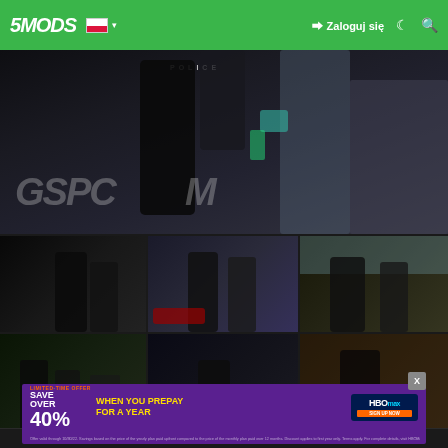5MODS | Zaloguj się
[Figure (screenshot): GTA5 police SWAT mod screenshot hero image with POLICE text and GSPC watermark]
[Figure (photo): Dark police figures in night scene]
[Figure (photo): Police officers standing near red car in daylight]
[Figure (photo): Police officers in tactical gear outdoors with blue sky]
[Figure (photo): SWAT team detaining suspects on street]
[Figure (photo): Police officer running near black vehicle]
[Figure (photo): Police officer indoors with warm lighting]
Pozwól nam pokazać swoje wyobrażenie o filmie wideo
[Figure (screenshot): HBO Max advertisement - Save over 40% when you prepay for a year - Limited-time offer]